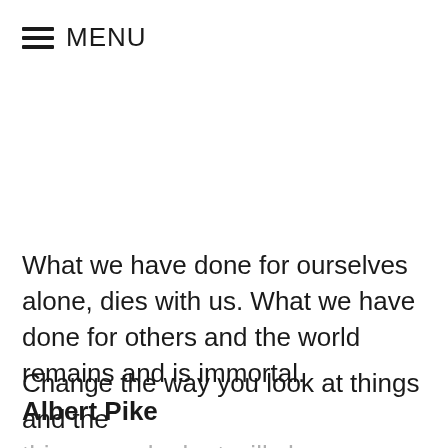MENU
What we have done for ourselves alone, dies with us. What we have done for others and the world remains and is immortal.
Albert Pike
Change the way you look at things and the things you look at will change.
Wayne Dyer